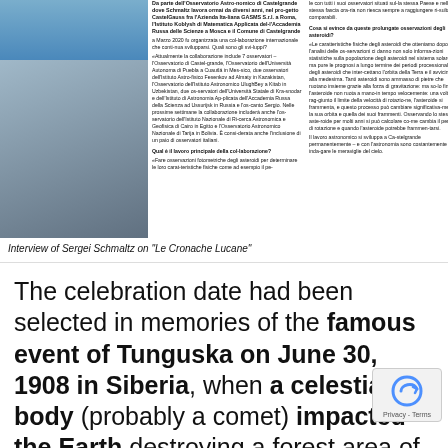[Figure (photo): Newspaper clipping with portrait photo of Sergei Schmaltz and Italian text columns about international asteroid observation collaboration]
Interview of Sergei Schmaltz on "Le Cronache Lucane"
The celebration date had been selected in memories of the famous event of Tunguska on June 30, 1908 in Siberia, when a celestial body (probably a comet) impacted the Earth destroying a forest area of 2000 square kilometres, which has been the greatest cosmic impact in the modern human history till